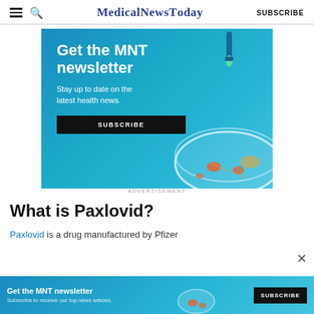MedicalNewsToday SUBSCRIBE
[Figure (illustration): MNT newsletter advertisement banner with blue background, dropper illustration, petri dish illustration, and SUBSCRIBE button. Text: Get the MNT newsletter. Stay up to date on the latest health news.]
What is Paxlovid?
Paxlovid is a drug manufactured by Pfizer
[Figure (illustration): Bottom MNT newsletter advertisement banner. Text: Get the MNT newsletter. Subscribe to receive our top news articles. SUBSCRIBE button.]